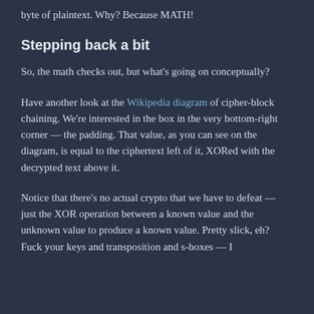byte of plaintext. Why? Because MATH!
Stepping back a bit
So, the math checks out, but what's going on conceptually?
Have another look at the Wikipedia diagram of cipher-block chaining. We're interested in the box in the very bottom-right corner — the padding. That value, as you can see on the diagram, is equal to the ciphertext left of it, XORed with the decrypted text above it.
Notice that there's no actual crypto that we have to defeat — just the XOR operation between a known value and the unknown value to produce a known value. Pretty slick, eh? Fuck your keys and transposition and s-boxes — I